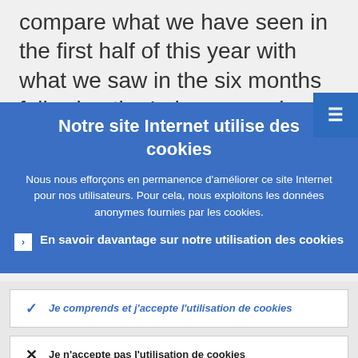compare what we have seen in the first half of this year with what we saw in the six months following the Lehman crash. From
Notre site Internet utilise des cookies
Nous nous efforçons en permanence d'améliorer ce site Internet pour nos utilisateurs. Pour cela, nous exploitons les données anonymes fournies par les cookies.
En savoir davantage sur notre utilisation des cookies
Je comprends et j'accepte l'utilisation de cookies
Je n'accepte pas l'utilisation de cookies